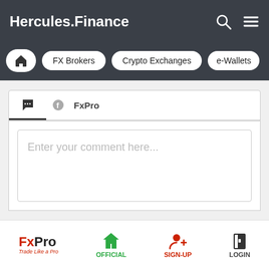Hercules.Finance
FX Brokers | Crypto Exchanges | e-Wallets
FxPro (tab)
Enter your comment here...
FxPro Trade Like a Pro | OFFICIAL | SIGN-UP | LOGIN